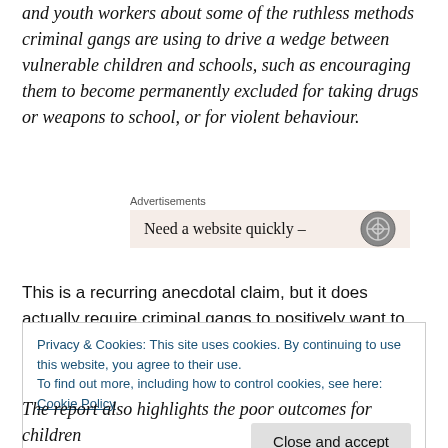and youth workers about some of the ruthless methods criminal gangs are using to drive a wedge between vulnerable children and schools, such as encouraging them to become permanently excluded for taking drugs or weapons to school, or for violent behaviour.
Advertisements
[Figure (other): Advertisement banner with text 'Need a website quickly –' and a circular icon on the right, on a light pink/beige background]
This is a recurring anecdotal claim, but it does actually require criminal gangs to positively want to draw the
Privacy & Cookies: This site uses cookies. By continuing to use this website, you agree to their use.
To find out more, including how to control cookies, see here: Cookie Policy
Close and accept
The report also highlights the poor outcomes for children